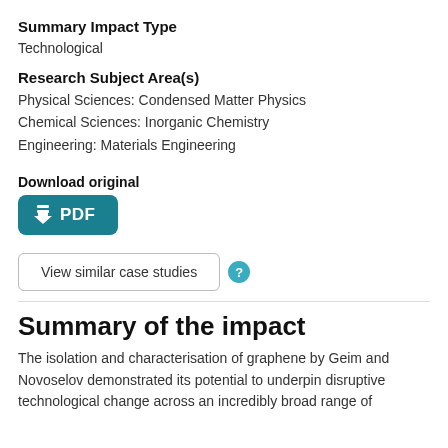Summary Impact Type
Technological
Research Subject Area(s)
Physical Sciences: Condensed Matter Physics
Chemical Sciences: Inorganic Chemistry
Engineering: Materials Engineering
Download original
[Figure (other): Download PDF button (teal rounded rectangle with download icon and PDF label)]
[Figure (other): View similar case studies button with teal help/question circle icon]
Summary of the impact
The isolation and characterisation of graphene by Geim and Novoselov demonstrated its potential to underpin disruptive technological change across an incredibly broad range of